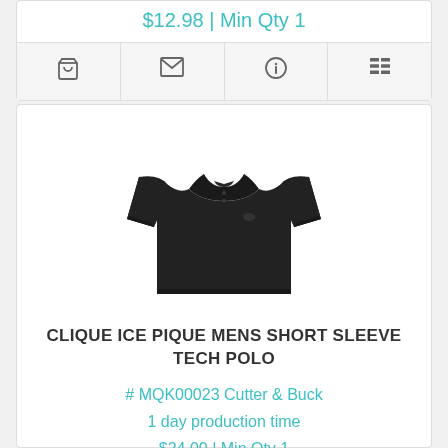$12.98 | Min Qty 1
[Figure (other): Icon bar with cart, email, info, and list icons]
[Figure (photo): Black Clique Ice Pique Mens Short Sleeve Tech Polo shirt on white background]
CLIQUE ICE PIQUE MENS SHORT SLEEVE TECH POLO
# MQK00023 Cutter & Buck
1 day production time
$24.00 | Min Qty 1